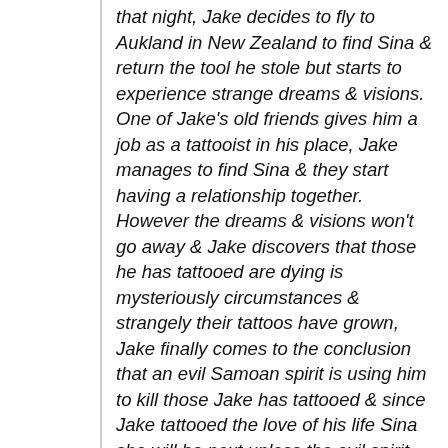that night, Jake decides to fly to Aukland in New Zealand to find Sina & return the tool he stole but starts to experience strange dreams & visions. One of Jake's old friends gives him a job as a tattooist in his place, Jake manages to find Sina & they start having a relationship together. However the dreams & visions won't go away & Jake discovers that those he has tattooed are dying is mysteriously circumstances & strangely their tattoos have grown, Jake finally comes to the conclusion that an evil Samoan spirit is using him to kill those Jake has tattooed & since Jake tattooed the love of his life Sina she will be next unless the evil spirit can be stopped… This New Zealand Singapore co- production was directed by Peter